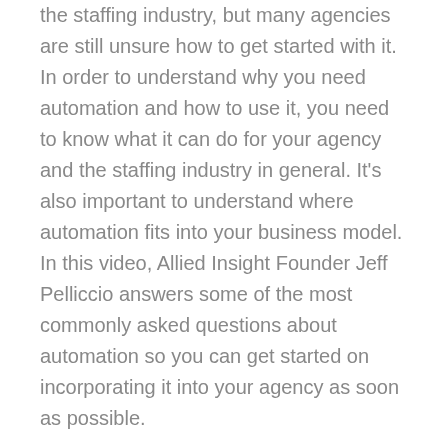the staffing industry, but many agencies are still unsure how to get started with it. In order to understand why you need automation and how to use it, you need to know what it can do for your agency and the staffing industry in general. It's also important to understand where automation fits into your business model. In this video, Allied Insight Founder Jeff Pelliccio answers some of the most commonly asked questions about automation so you can get started on incorporating it into your agency as soon as possible.
Today, most industry events are centered around the role of digitization in staffing. Why? Because automation is a natural progression if